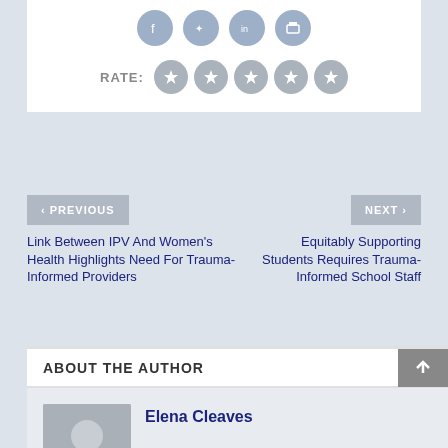[Figure (infographic): Social share icons (Facebook, Twitter, LinkedIn, Print) as circular gray buttons]
RATE:
[Figure (infographic): Five gray circular star rating buttons]
< PREVIOUS
Link Between IPV And Women's Health Highlights Need For Trauma-Informed Providers
NEXT >
Equitably Supporting Students Requires Trauma-Informed School Staff
ABOUT THE AUTHOR
Elena Cleaves